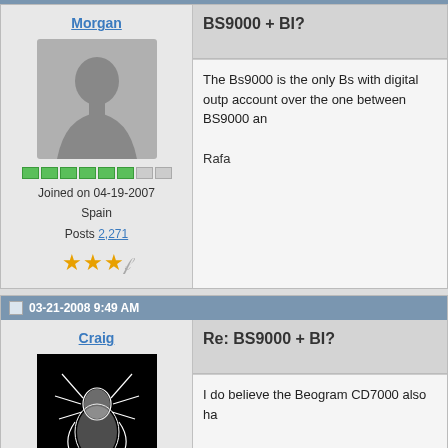Morgan
[Figure (photo): Default gray silhouette avatar for user Morgan]
Joined on 04-19-2007
Spain
Posts 2,271
BS9000 + BI?
The Bs9000 is the only Bs with digital outp account over the one between BS9000 an
Rafa
03-21-2008 9:49 AM
Craig
[Figure (photo): Avatar image of a white skeletal/monster creature on black background for user Craig]
Re: BS9000 + BI?
I do believe the Beogram CD7000 also ha
Craig